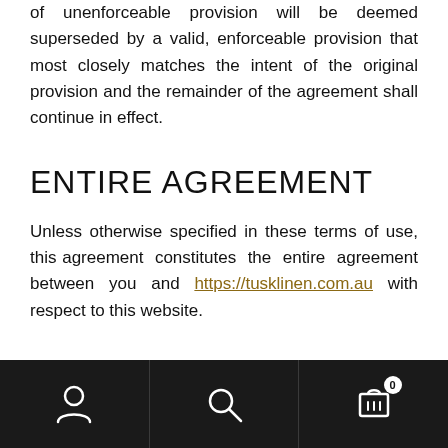of unenforceable provision will be deemed superseded by a valid, enforceable provision that most closely matches the intent of the original provision and the remainder of the agreement shall continue in effect.
ENTIRE AGREEMENT
Unless otherwise specified in these terms of use, this agreement constitutes the entire agreement between you and https://tusklinen.com.au with respect to this website.
Navigation footer with user, search, and cart icons